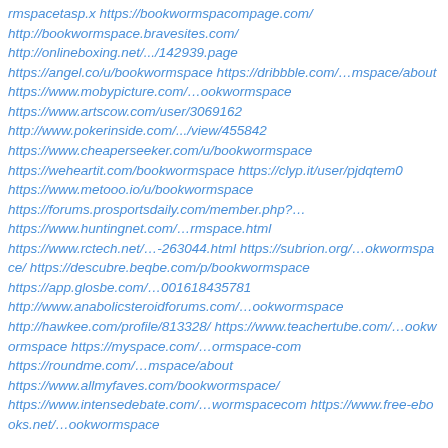rmspacetasp.x https://bookwormspacompage.com/
http://bookwormspace.bravesites.com/
http://onlineboxing.net/.../142939.page
https://angel.co/u/bookwormspace https://dribbble.com/…mspace/about https://www.mobypicture.com/…ookwormspace
https://www.artscow.com/user/3069162
http://www.pokerinside.com/.../view/455842
https://www.cheaperseeker.com/u/bookwormspace
https://weheartit.com/bookwormspace https://clyp.it/user/pjdqtem0
https://www.metooo.io/u/bookwormspace
https://forums.prosportsdaily.com/member.php?…
https://www.huntingnet.com/…rmspace.html
https://www.rctech.net/…-263044.html https://subrion.org/…okwormspace/ https://descubre.beqbe.com/p/bookwormspace
https://app.glosbe.com/…001618435781
http://www.anabolicsteroidforums.com/…ookwormspace
http://hawkee.com/profile/813328/ https://www.teachertube.com/…ookwormspace https://myspace.com/…ormspace-com
https://roundme.com/…mspace/about
https://www.allmyfaves.com/bookwormspace/
https://www.intensedebate.com/…wormspacecom https://www.free-ebooks.net/…ookwormspace